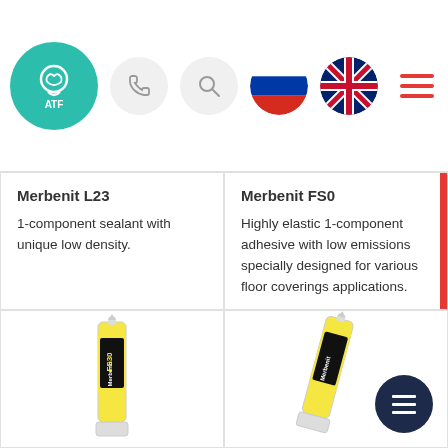[Figure (screenshot): Navigation bar with ATF logo (teal circle), phone icon, search icon, Russian flag, UK flag, and red hamburger menu icon]
Merbenit L23
1-component sealant with unique low density.
Merbenit FS0
Highly elastic 1-component adhesive with low emissions specially designed for various floor coverings applications.
[Figure (photo): Merbenit FS30 yellow sealant tube/cartridge]
[Figure (photo): Merbenit product cartridge tube with dark navy floating menu button overlay]